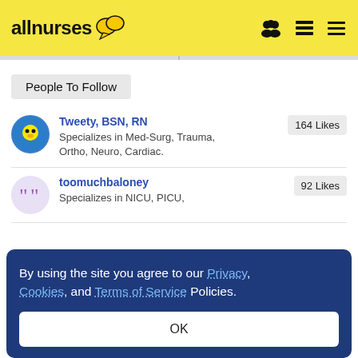allnurses
People To Follow
Tweety, BSN, RN
Specializes in Med-Surg, Trauma, Ortho, Neuro, Cardiac.
164 Likes
toomuchbaloney
Specializes in NICU, PICU,
92 Likes
By using the site you agree to our Privacy, Cookies, and Terms of Service Policies.
OK
Specializes in Public Health, TB.